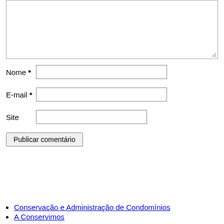[Figure (screenshot): Comment form textarea (empty, with resize handle at bottom-right)]
Nome *
E-mail *
Site
Publicar comentário
Conservação e Administração de Condomínios
A Conservimos